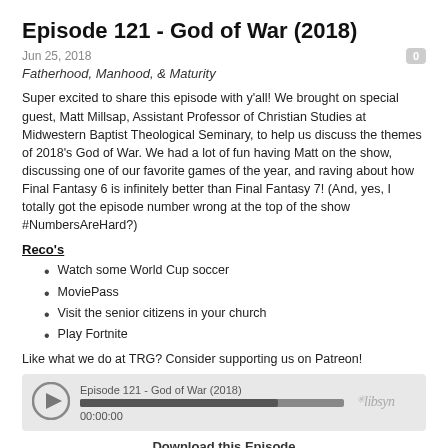Episode 121 - God of War (2018)
Jun 25, 2018
Fatherhood, Manhood, & Maturity
Super excited to share this episode with y'all! We brought on special guest, Matt Millsap, Assistant Professor of Christian Studies at Midwestern Baptist Theological Seminary, to help us discuss the themes of 2018's God of War. We had a lot of fun having Matt on the show, discussing one of our favorite games of the year, and raving about how Final Fantasy 6 is infinitely better than Final Fantasy 7! (And, yes, I totally got the episode number wrong at the top of the show #NumbersAreHard?)
Reco's
Watch some World Cup soccer
MoviePass
Visit the senior citizens in your church
Play Fortnite
Like what we do at TRG? Consider supporting us on Patreon!
[Figure (other): Audio player widget showing Episode 121 - God of War (2018), with play button, progress bar, time 00:00:00, and Libsyn logo]
Download this Episode